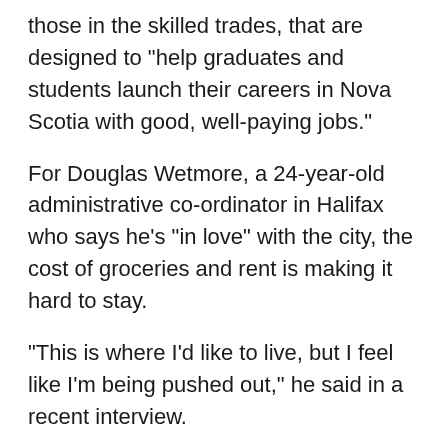those in the skilled trades, that are designed to "help graduates and students launch their careers in Nova Scotia with good, well-paying jobs."
For Douglas Wetmore, a 24-year-old administrative co-ordinator in Halifax who says he's "in love" with the city, the cost of groceries and rent is making it hard to stay.
"This is where I'd like to live, but I feel like I'm being pushed out," he said in a recent interview.
"It feels like the city is being designed to squeeze any sort of income out of youth and just push them aside."
Wetmore, who was born in New Brunswick and moved to the Halifax region as a kid, says he